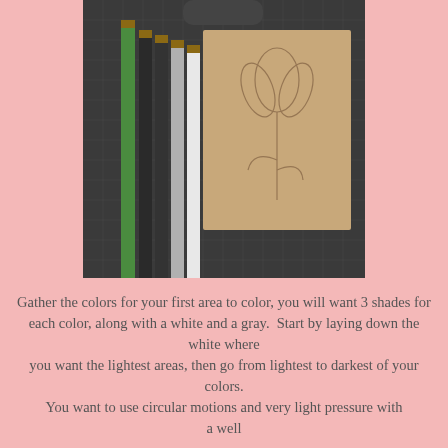[Figure (photo): Photo of colored pencils (green, dark, white/gray shades) laid on a dark cutting mat next to a kraft paper sketchbook with a pencil sketch of a flower (iris).]
Gather the colors for your first area to color, you will want 3 shades for each color, along with a white and a gray.  Start by laying down the white where you want the lightest areas, then go from lightest to darkest of your colors. You want to use circular motions and very light pressure with a well